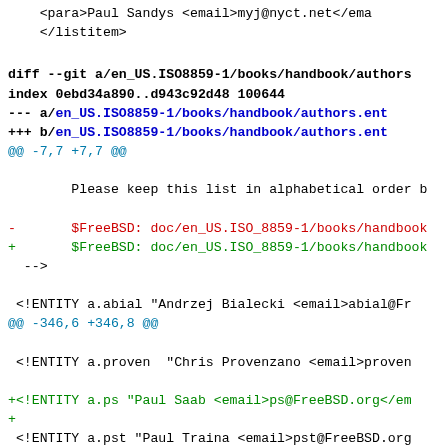<para>Paul Sandys <email>myj@nyct.net</email></para>
    </listitem>
diff --git a/en_US.ISO8859-1/books/handbook/authors...
index 0ebd34a890..d943c92d48 100644
--- a/en_US.ISO8859-1/books/handbook/authors.ent
+++ b/en_US.ISO8859-1/books/handbook/authors.ent
@@ -7,7 +7,7 @@

        Please keep this list in alphabetical order b

-       $FreeBSD: doc/en_US.ISO_8859-1/books/handbook
+       $FreeBSD: doc/en_US.ISO_8859-1/books/handbook
  -->

 <!ENTITY a.abial "Andrzej Bialecki <email>abial@Fr
@@ -346,6 +346,8 @@

 <!ENTITY a.proven  "Chris Provenzano <email>proven

+<!ENTITY a.ps "Paul Saab <email>ps@FreeBSD.org</em
++
 <!ENTITY a.pst "Paul Traina <email>pst@FreeBSD.org

 <!ENTITY a.reg "Jeremy Lea <email>reg@FreeBSD.org<

diff --git a/en_US.ISO8859-1/books/handbook/contrib...
index 8d4c477991..c4c077fbae 100644
--- a/en_US.ISO8859-1/books/handbook/contrib/chapte
+++ b/en_US.ISO8859-1/books/handbook/contrib/chapte